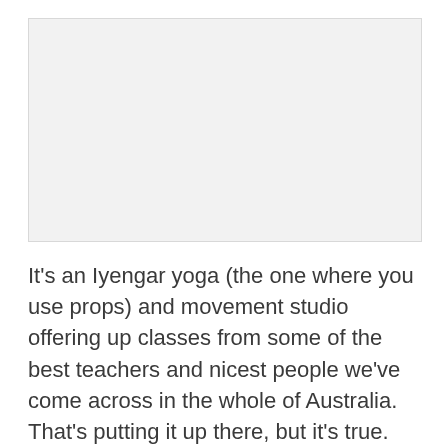[Figure (photo): A photo placeholder — light grey rectangle representing an image at the top of the page.]
It's an Iyengar yoga (the one where you use props) and movement studio offering up classes from some of the best teachers and nicest people we've come across in the whole of Australia. That's putting it up there, but it's true. We always, always say we want to live somewhere that just has these people all around us all the time. After much